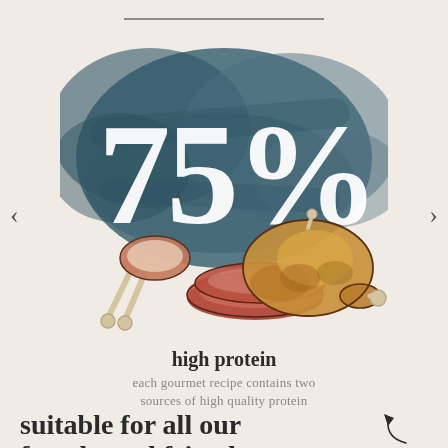[Figure (illustration): A teal/slate blue brushstroke background with large white '75%' text overlaid, and illustrated meat and poultry items (chicken, lamb/rabbit bones, sliced beef/ham) arranged in front]
high protein
each gourmet recipe contains two sources of high quality protein
suitable for all our four-legged friends
back to top